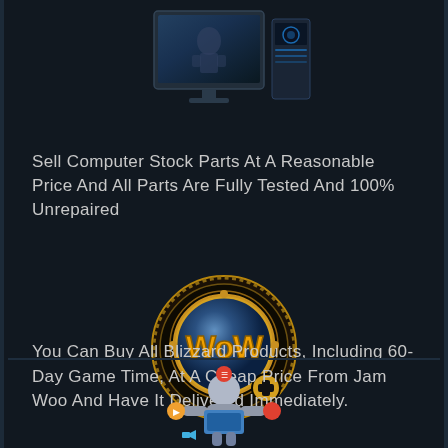[Figure (illustration): Gaming computer setup with monitor showing a sci-fi scene and illuminated gaming PC tower]
Sell Computer Stock Parts At A Reasonable Price And All Parts Are Fully Tested And 100% Unrepaired
[Figure (logo): World of Warcraft coin logo with 'WoW' text in golden letters on a dark circular medallion with gear-like border and a plus symbol]
You Can Buy All Blizzard Products, Including 60-Day Game Time, At A Cheap Price From Jam Woo And Have It Delivered Immediately.
[Figure (illustration): Colorful digital services infographic figure at bottom of page]